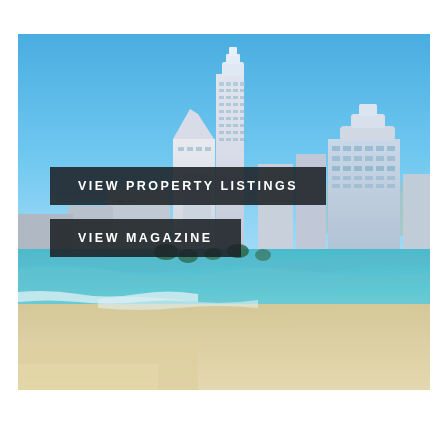[Figure (photo): Aerial view of a coastal city skyline (Surfers Paradise, Gold Coast, Australia) with tall skyscrapers along a sandy beach and turquoise ocean. Blue sky above.]
VIEW PROPERTY LISTINGS
VIEW MAGAZINE